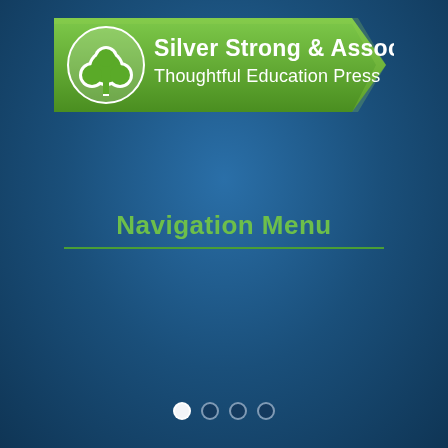[Figure (logo): Silver Strong & Associates / Thoughtful Education Press logo banner — green arrow-shaped banner with white tree icon and white text]
Navigation Menu
[Figure (other): Pagination dots — four circles at bottom center, first white, remaining dark]